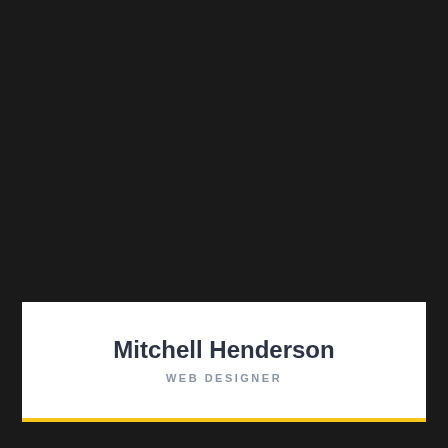[Figure (photo): Dark background covering upper two-thirds of the page, likely a portrait photograph with very dark/black tones]
Mitchell Henderson
WEB DESIGNER